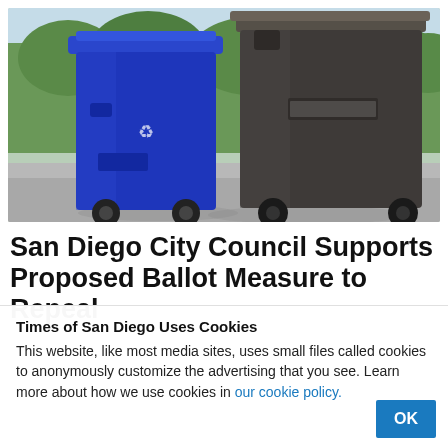[Figure (photo): A blue recycling bin and a large dark brown/grey trash bin sitting on a driveway or sidewalk, with green shrubs and trees in the background.]
San Diego City Council Supports Proposed Ballot Measure to Repeal
Times of San Diego Uses Cookies
This website, like most media sites, uses small files called cookies to anonymously customize the advertising that you see. Learn more about how we use cookies in our cookie policy.